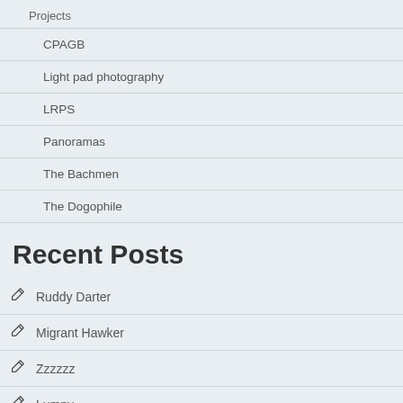Projects
CPAGB
Light pad photography
LRPS
Panoramas
The Bachmen
The Dogophile
Recent Posts
Ruddy Darter
Migrant Hawker
Zzzzzz
Lumpy
Jazzy